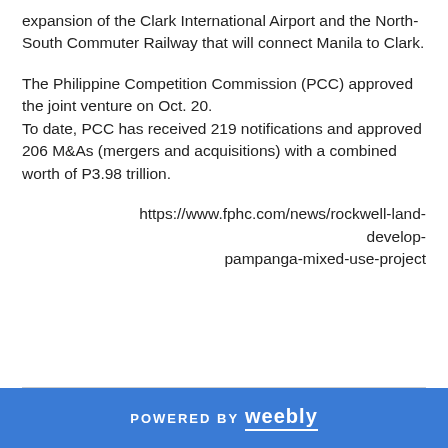expansion of the Clark International Airport and the North-South Commuter Railway that will connect Manila to Clark.
The Philippine Competition Commission (PCC) approved the joint venture on Oct. 20. To date, PCC has received 219 notifications and approved 206 M&As (mergers and acquisitions) with a combined worth of P3.98 trillion.
https://www.fphc.com/news/rockwell-land-develop-pampanga-mixed-use-project
POWERED BY weebly